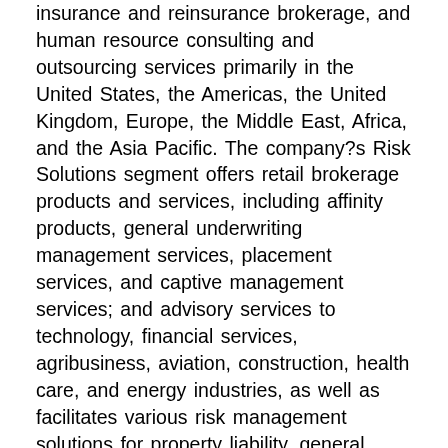insurance and reinsurance brokerage, and human resource consulting and outsourcing services primarily in the United States, the Americas, the United Kingdom, Europe, the Middle East, Africa, and the Asia Pacific. The company?s Risk Solutions segment offers retail brokerage products and services, including affinity products, general underwriting management services, placement services, and captive management services; and advisory services to technology, financial services, agribusiness, aviation, construction, health care, and energy industries, as well as facilitates various risk management solutions for property liability, general liability, professional liability, directors' and officers' liability, workers' compensation, and various healthcare products. This segment also provides risk consulting services comprising captive management; eSolutions products that enable clients to manage risks, policies, claims, and safet y concerns through an integrated technology platform; reinsurance brokerage services, such as actuarial, enterprise risk management,